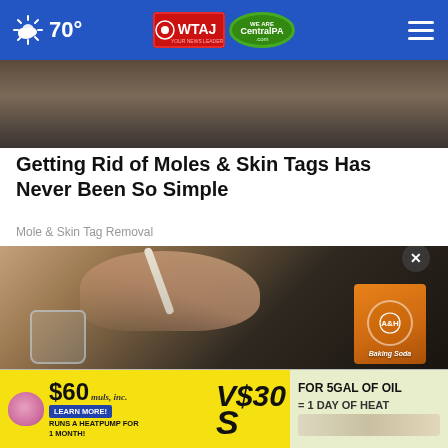70° | WTAJ | CentralPA.com
[Figure (photo): Partial cropped photo at top of page, showing hands/face area]
Getting Rid of Moles & Skin Tags Has Never Been So Simple
Mole & Skin Tag Removal
[Figure (photo): Person holding a box of Arm & Hammer Baking Soda and a spoon over a glass jar, appearing to mix a home remedy]
[Figure (infographic): Advertisement banner: $60 muls, inc. LEARN MORE! RUNS A HEATPUMP FOR 1 MONTH! VS $30 S FOR 5GAL OF OIL = 1 DAY OF HEAT]